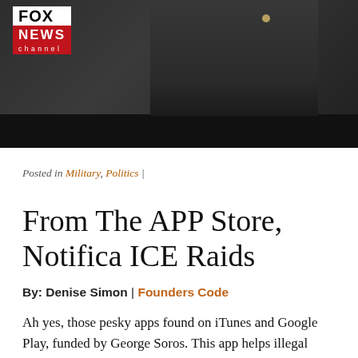[Figure (photo): Fox News channel screenshot showing an anchor in a dark suit with an American flag pin, Fox News logo visible in top left corner with red background]
Posted in Military, Politics |
From The APP Store, Notifica ICE Raids
By: Denise Simon | Founders Code
Ah yes, those pesky apps found on iTunes and Google Play, funded by George Soros. This app helps illegal immigrants avoid federal immigration authorities. The group behind this scheme is United We Dream and guess what? That organization receives taxpayer funding. Uh huh.